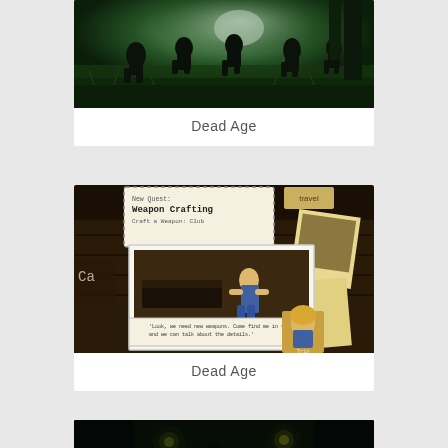[Figure (screenshot): Dead Age game screenshot showing zombie silhouettes in a dark grassy field at night with green lighting]
Dead Age
[Figure (screenshot): Dead Age game screenshot showing RPG dialogue interface with weapon crafting quest, a blonde character sitting in a shelter, and a character portrait of Trin at the bottom]
Dead Age
[Figure (screenshot): Dead Age game screenshot showing dark nighttime scene with glowing yellow lights and dark silhouettes]